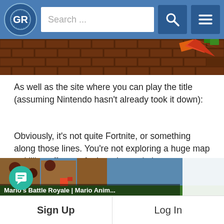GR [logo] Search ... [search icon] [menu icon]
[Figure (screenshot): Pixel art game screenshot showing brown brick/stone tile background with a orange/red arrow shape visible in upper right]
As well as the site where you can play the title (assuming Nintendo hasn't already took it down):
Obviously, it's not quite Fortnite, or something along those lines. You're not exploring a huge map or killing off tons of other players in insane ways, ala this (also quite recent) fan animation:
[Figure (screenshot): Bottom portion of a YouTube video thumbnail showing a game scene with text 'Mario's Battle Royale | Mario Anim...' partially visible]
Sign Up    Log In